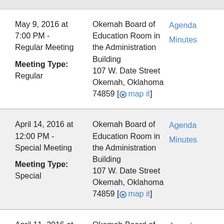May 9, 2016 at 7:00 PM - Regular Meeting
Meeting Type: Regular
Okemah Board of Education Room in the Administration Building
107 W. Date Street
Okemah, Oklahoma 74859 [map it]
Agenda
Minutes
April 14, 2016 at 12:00 PM - Special Meeting
Meeting Type: Special
Okemah Board of Education Room in the Administration Building
107 W. Date Street
Okemah, Oklahoma 74859 [map it]
Agenda
Minutes
April 11, 2016 at 7:00 PM -
Okemah Board of Education in
Agenda
Minutes